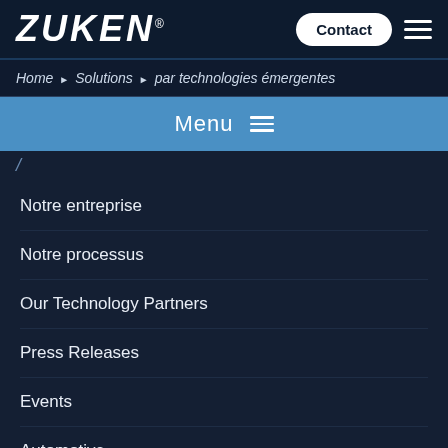ZUKEN® Contact ☰
Home ▶ Solutions ▶ par technologies émergentes
Menu ≡
Notre entreprise
Notre processus
Our Technology Partners
Press Releases
Events
Automotive
Consommateur
Machines